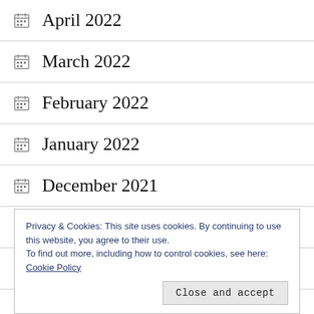April 2022
March 2022
February 2022
January 2022
December 2021
October 2021
September 2021
Privacy & Cookies: This site uses cookies. By continuing to use this website, you agree to their use.
To find out more, including how to control cookies, see here: Cookie Policy
Close and accept